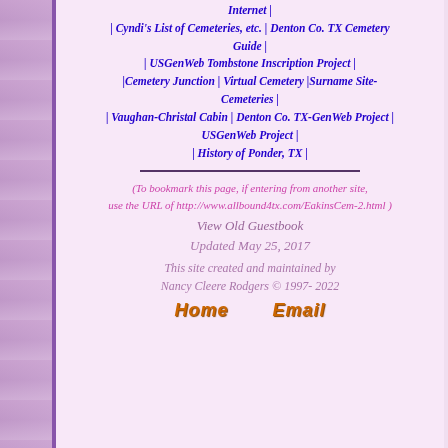| Cyndi's List of Cemeteries, etc. | Denton Co. TX Cemetery Guide | | USGenWeb Tombstone Inscription Project | |Cemetery Junction | Virtual Cemetery |Surname Site-Cemeteries | | Vaughan-Christal Cabin | Denton Co. TX-GenWeb Project | USGenWeb Project | | History of Ponder, TX |
(To bookmark this page, if entering from another site, use the URL of http://www.allbound4tx.com/EakinsCem-2.html )
View Old Guestbook
Updated May 25, 2017
This site created and maintained by Nancy Cleere Rodgers © 1997- 2022
Home   Email